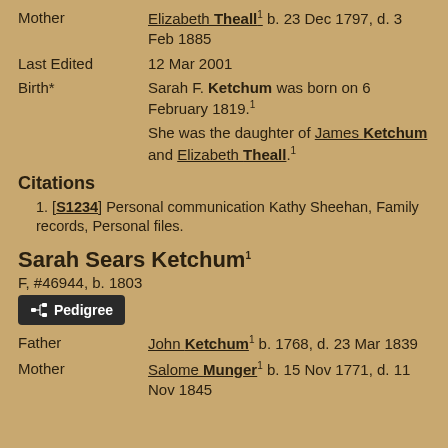Mother   Elizabeth Theall¹ b. 23 Dec 1797, d. 3 Feb 1885
Last Edited   12 Mar 2001
Birth*   Sarah F. Ketchum was born on 6 February 1819.¹ She was the daughter of James Ketchum and Elizabeth Theall.¹
Citations
1. [S1234] Personal communication Kathy Sheehan, Family records, Personal files.
Sarah Sears Ketchum¹
F, #46944, b. 1803
Pedigree (button)
Father   John Ketchum¹ b. 1768, d. 23 Mar 1839
Mother   Salome Munger¹ b. 15 Nov 1771, d. 11 Nov 1845